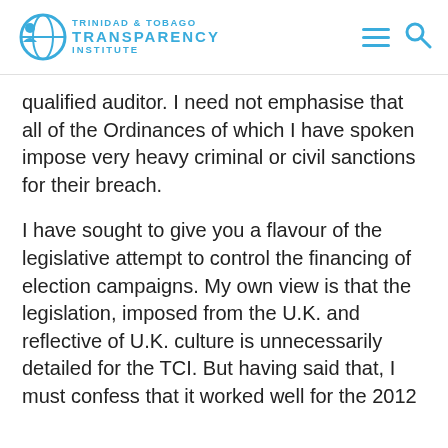Trinidad & Tobago Transparency Institute
qualified auditor. I need not emphasise that all of the Ordinances of which I have spoken impose very heavy criminal or civil sanctions for their breach.
I have sought to give you a flavour of the legislative attempt to control the financing of election campaigns. My own view is that the legislation, imposed from the U.K. and reflective of U.K. culture is unnecessarily detailed for the TCI. But having said that, I must confess that it worked well for the 2012